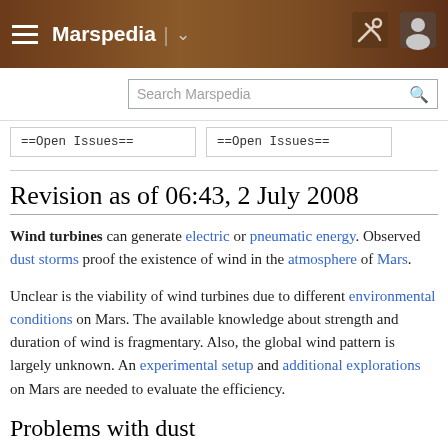Marspedia
Search Marspedia
==Open Issues==  ==Open Issues==
Revision as of 06:43, 2 July 2008
Wind turbines can generate electric or pneumatic energy. Observed dust storms proof the existence of wind in the atmosphere of Mars.
Unclear is the viability of wind turbines due to different environmental conditions on Mars. The available knowledge about strength and duration of wind is fragmentary. Also, the global wind pattern is largely unknown. An experimental setup and additional explorations on Mars are needed to evaluate the efficiency.
Problems with dust